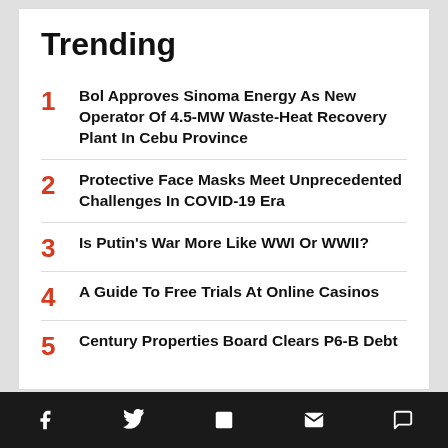Trending
1 Bol Approves Sinoma Energy As New Operator Of 4.5-MW Waste-Heat Recovery Plant In Cebu Province
2 Protective Face Masks Meet Unprecedented Challenges In COVID-19 Era
3 Is Putin's War More Like WWI Or WWII?
4 A Guide To Free Trials At Online Casinos
5 Century Properties Board Clears P6-B Debt
Social share bar with Facebook, Twitter, Flipboard, Email, Comment icons